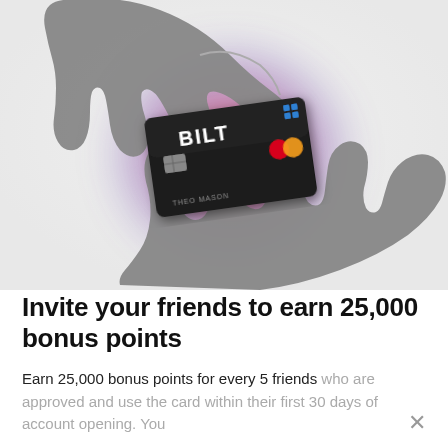[Figure (illustration): Black and white photograph of two hands passing a Bilt credit card between them, with a colorful pink/purple/orange glowing orb behind the card. The top hand reaches down from above with fingers extended, and the bottom hand holds out an open palm. The Bilt Mastercard is dark/black with the BILT logo and the name THEO MASON on it.]
Invite your friends to earn 25,000 bonus points
Earn 25,000 bonus points for every 5 friends who are approved and use the card within their first 30 days of account opening. You